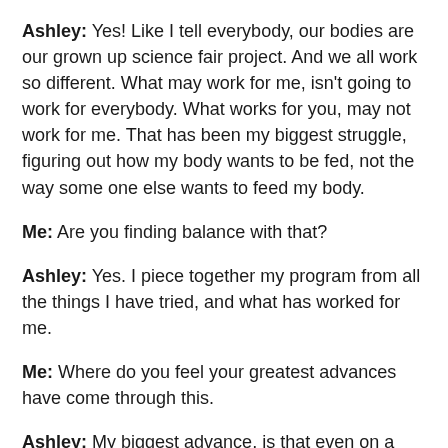Ashley: Yes! Like I tell everybody, our bodies are our grown up science fair project. And we all work so different. What may work for me, isn't going to work for everybody. What works for you, may not work for me. That has been my biggest struggle, figuring out how my body wants to be fed, not the way some one else wants to feed my body.
Me: Are you finding balance with that?
Ashley: Yes. I piece together my program from all the things I have tried, and what has worked for me.
Me: Where do you feel your greatest advances have come through this.
Ashley: My biggest advance, is that even on a bad day I love myself more now, than I ever have. I have been through a lot of stuff in my childhood, as has everyone. It's the love for myself. I